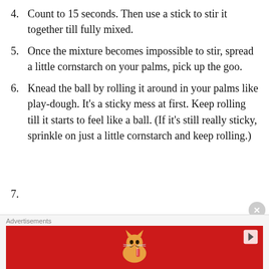4. Count to 15 seconds. Then use a stick to stir it together till fully mixed.
5. Once the mixture becomes impossible to stir, spread a little cornstarch on your palms, pick up the goo.
6. Knead the ball by rolling it around in your palms like play-dough. It’s a sticky mess at first. Keep rolling till it starts to feel like a ball. (If it’s still really sticky, sprinkle on just a little cornstarch and keep rolling.)
[Figure (other): Advertisement banner with a cat and red background, labeled Advertisements at top]
Advertisements